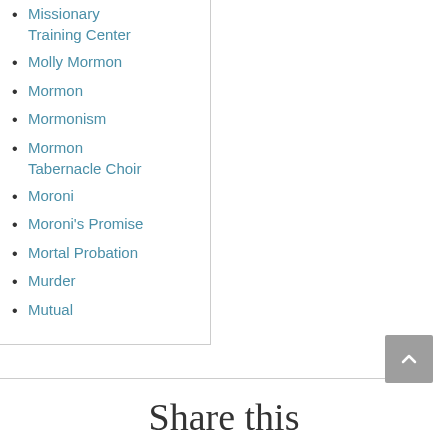Missionary Training Center
Molly Mormon
Mormon
Mormonism
Mormon Tabernacle Choir
Moroni
Moroni's Promise
Mortal Probation
Murder
Mutual
Share this